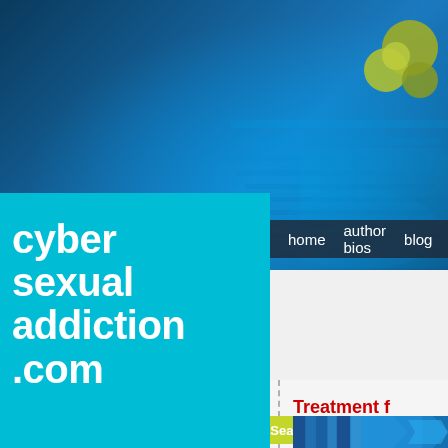[Figure (screenshot): Website header with dark teal/blue background with blurred laptop keyboard image and cyan/blue color overlay]
[Figure (illustration): Olive green overlapping circles logo in top right corner]
cyber sexual addiction .com
home   author bios   blog   a...
Search
Click Here to Search
Search
Treatment f...